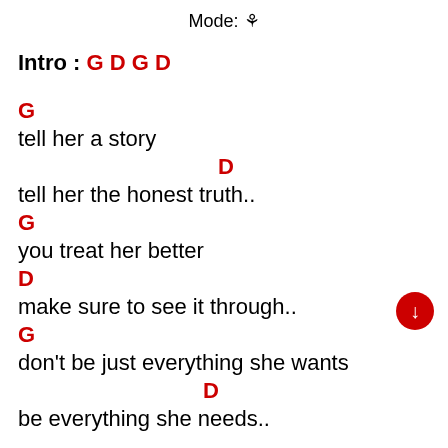Mode: ☼
Intro : G D G D
G
 tell her a story
D
tell her the honest truth..
G
 you treat her better
D
make sure to see it through..
G
 don't be just everything she wants
D
be everything she needs..